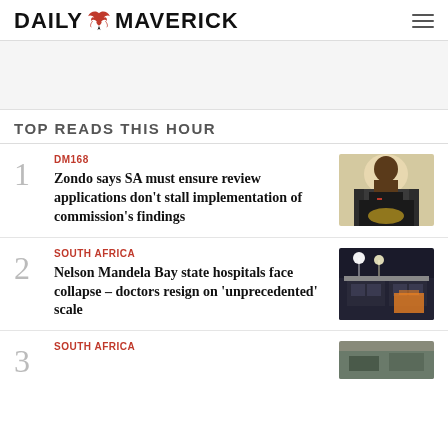DAILY MAVERICK
TOP READS THIS HOUR
DM168
Zondo says SA must ensure review applications don't stall implementation of commission's findings
[Figure (photo): Photo of a man in a suit speaking at a podium with a gold emblem, wearing a red tie]
SOUTH AFRICA
Nelson Mandela Bay state hospitals face collapse – doctors resign on 'unprecedented' scale
[Figure (photo): Photo of a hospital building exterior at night with bright lights above the entrance and an ambulance]
SOUTH AFRICA
[Figure (photo): Partial photo visible at bottom right]